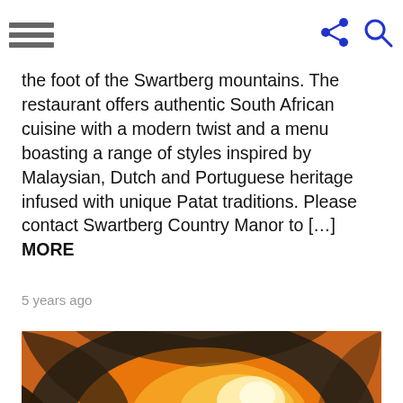[hamburger menu icon, share icon, search icon]
the foot of the Swartberg mountains. The restaurant offers authentic South African cuisine with a modern twist and a menu boasting a range of styles inspired by Malaysian, Dutch and Portuguese heritage infused with unique Patat traditions. Please contact Swartberg Country Manor to […] MORE
5 years ago
[Figure (photo): Close-up of a person placing or retrieving a pizza in a wood-fired oven with bright orange flames and embers inside.]